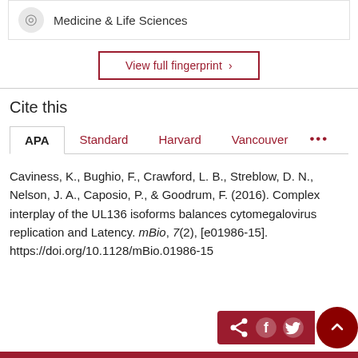Medicine & Life Sciences
View full fingerprint ›
Cite this
APA | Standard | Harvard | Vancouver | ...
Caviness, K., Bughio, F., Crawford, L. B., Streblow, D. N., Nelson, J. A., Caposio, P., & Goodrum, F. (2016). Complex interplay of the UL136 isoforms balances cytomegalovirus replication and Latency. mBio, 7(2), [e01986-15]. https://doi.org/10.1128/mBio.01986-15